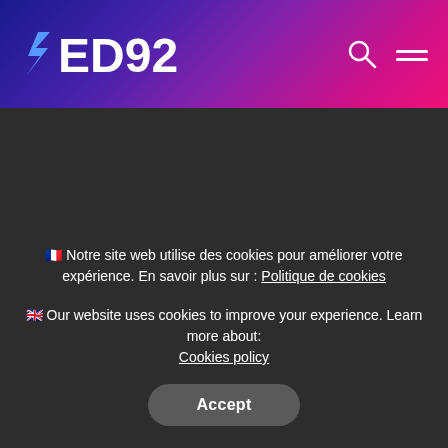AED92
🇫🇷 Notre site web utilise des cookies pour améliorer votre expérience. En savoir plus sur : Politique de cookies
🇬🇧 Our website uses cookies to improve your experience. Learn more about: Cookies policy
Accept